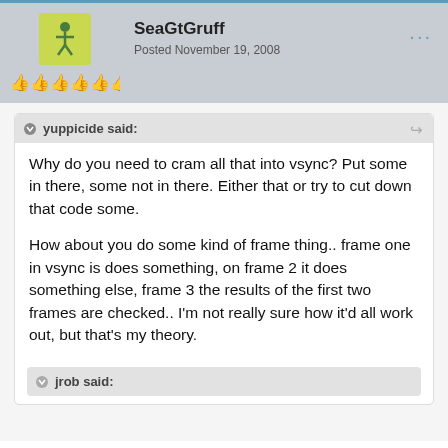SeaGtGruff
Posted November 19, 2008
yuppicide said:
Why do you need to cram all that into vsync? Put some in there, some not in there. Either that or try to cut down that code some.

How about you do some kind of frame thing.. frame one in vsync is does something, on frame 2 it does something else, frame 3 the results of the first two frames are checked.. I'm not really sure how it'd all work out, but that's my theory.
jrob said: